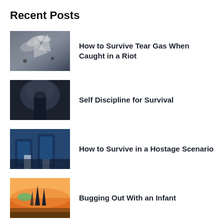Recent Posts
How to Survive Tear Gas When Caught in a Riot
Self Discipline for Survival
How to Survive in a Hostage Scenario
Bugging Out With an Infant
(partial, text cut off)